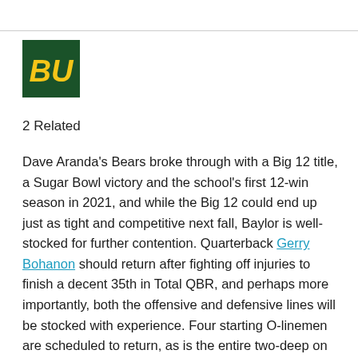[Figure (logo): Baylor University logo: dark green square with gold BU interlocking letters]
2 Related
Dave Aranda's Bears broke through with a Big 12 title, a Sugar Bowl victory and the school's first 12-win season in 2021, and while the Big 12 could end up just as tight and competitive next fall, Baylor is well-stocked for further contention. Quarterback Gerry Bohanon should return after fighting off injuries to finish a decent 35th in Total QBR, and perhaps more importantly, both the offensive and defensive lines will be stocked with experience. Four starting O-linemen are scheduled to return, as is the entire two-deep on the D-line. Gabe Hall gives them a proven